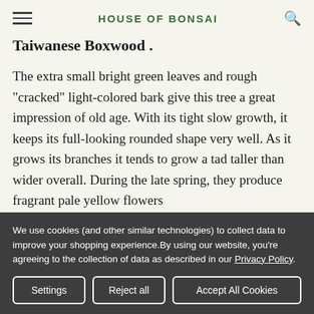HOUSE OF BONSAI
Taiwanese Boxwood .
The extra small bright green leaves and rough "cracked" light-colored bark give this tree a great impression of old age. With its tight slow growth, it keeps its full-looking rounded shape very well. As it grows its branches it tends to grow a tad taller than wider overall. During the late spring, they produce fragrant pale yellow flowers
We use cookies (and other similar technologies) to collect data to improve your shopping experience.By using our website, you're agreeing to the collection of data as described in our Privacy Policy.